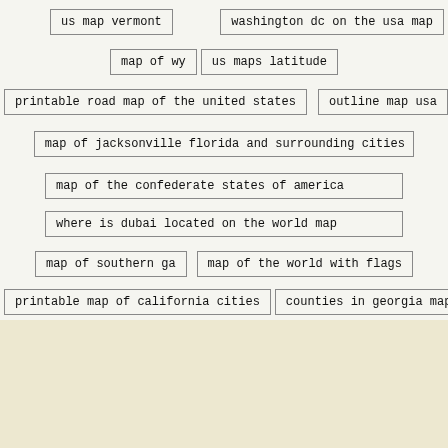us map vermont
washington dc on the usa map
map of wy
us maps latitude
printable road map of the united states
outline map usa
map of jacksonville florida and surrounding cities
map of the confederate states of america
where is dubai located on the world map
map of southern ga
map of the world with flags
printable map of california cities
counties in georgia map
© 2018 Wiki Travel. All rights reserved. Privacy Policy | License | Contact Us